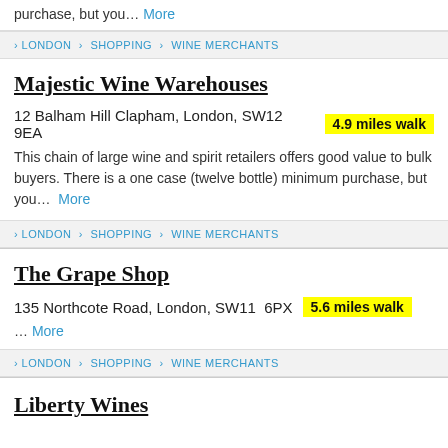purchase, but you…  More
> LONDON > SHOPPING > WINE MERCHANTS
Majestic Wine Warehouses
12 Balham Hill Clapham, London, SW12 9EA  4.9 miles walk
This chain of large wine and spirit retailers offers good value to bulk buyers. There is a one case (twelve bottle) minimum purchase, but you...  More
> LONDON > SHOPPING > WINE MERCHANTS
The Grape Shop
135 Northcote Road, London, SW11 6PX  5.6 miles walk
…  More
> LONDON > SHOPPING > WINE MERCHANTS
Liberty Wines